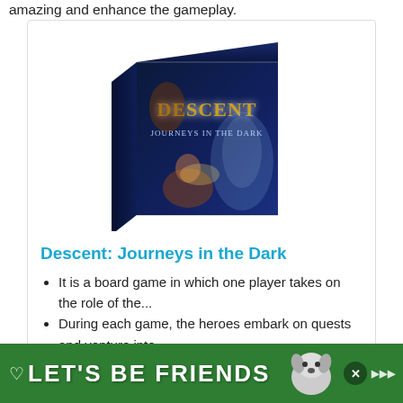amazing and enhance the gameplay.
[Figure (photo): Box art for the board game 'Descent: Journeys in the Dark' showing a dark fantasy dungeon scene with heroes and monsters on a blue box.]
Descent: Journeys in the Dark
It is a board game in which one player takes on the role of the...
During each game, the heroes embark on quests and venture into...
Featuring double-sided modular board...
[Figure (other): Green advertisement banner reading LET'S BE FRIENDS with a dog/husky image and a heart icon, with a close button and Waze-style brand icon.]